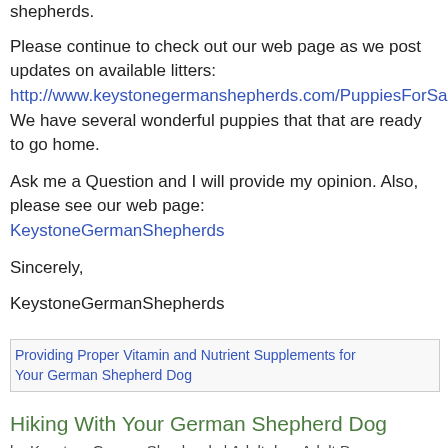shepherds.
Please continue to check out our web page as we post updates on available litters: http://www.keystonegermanshepherds.com/PuppiesForSale.htm.   We have several wonderful puppies that that are ready to go home.
Ask me a Question and I will provide my opinion. Also, please see our web page: KeystoneGermanShepherds
Sincerely,
KeystoneGermanShepherds
[Figure (other): Broken image placeholder linking to article about Providing Proper Vitamin and Nutrient Supplements for Your German Shepherd Dog]
Hiking With Your German Shepherd Dog
by KeystoneGermanShepherds | Adult dog, Adult Dogs, Champion, dog play, happy, health, Hiking, traveling,